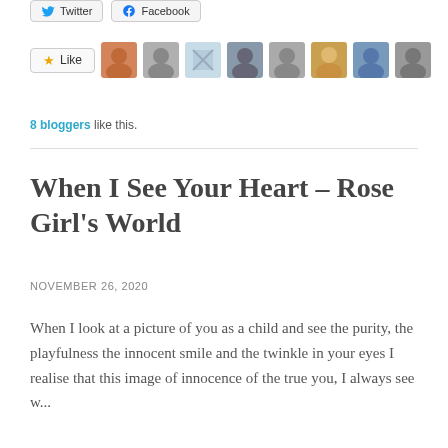[Figure (other): Twitter and Facebook share buttons at the top of the page]
[Figure (other): Like button with star icon followed by 8 blogger avatar thumbnails]
8 bloggers like this.
When I See Your Heart – Rose Girl's World
NOVEMBER 26, 2020
When I look at a picture of you as a child and see the purity, the playfulness the innocent smile and the twinkle in your eyes I realise that this image of innocence of the true you, I always see w...